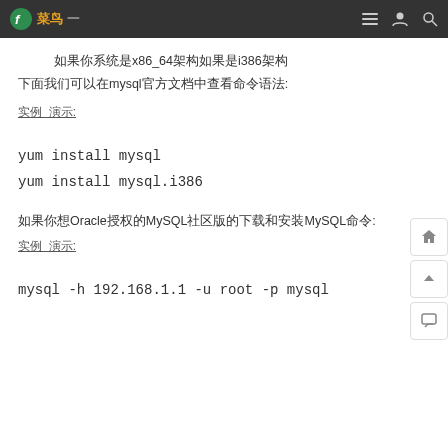菜鸟 一
如果你系统是x86_64架构如果是i386架构
下面我们可以在mysql官方文档中查看命令语法:
实例 演示:
yum install mysql
yum install mysql.i386
如果你想Oracle授权的MySQL社区版的下载和安装MySQL命令:
实例 演示:
mysql -h 192.168.1.1 -u root -p mysql